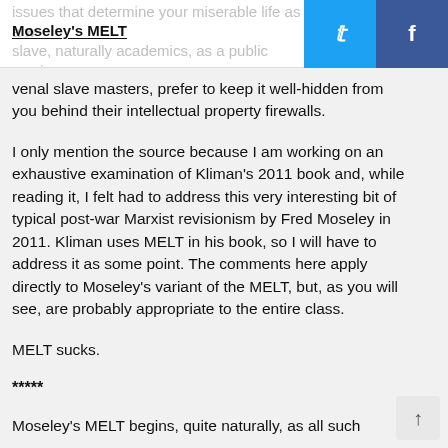Moseley's MELT
venal slave masters, prefer to keep it well-hidden from you behind their intellectual property firewalls.
I only mention the source because I am working on an exhaustive examination of Kliman's 2011 book and, while reading it, I felt had to address this very interesting bit of typical post-war Marxist revisionism by Fred Moseley in 2011. Kliman uses MELT in his book, so I will have to address it as some point. The comments here apply directly to Moseley's variant of the MELT, but, as you will see, are probably appropriate to the entire class.
MELT sucks.
*****
Moseley's MELT begins, quite naturally, as all such